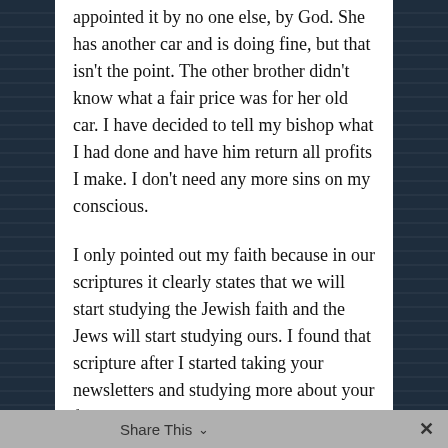appointed it by no one else, by God. She has another car and is doing fine, but that isn't the point. The other brother didn't know what a fair price was for her old car. I have decided to tell my bishop what I had done and have him return all profits I make. I don't need any more sins on my conscious.
I only pointed out my faith because in our scriptures it clearly states that we will start studying the Jewish faith and the Jews will start studying ours. I found that scripture after I started taking your newsletters and studying more about your faith. I love the spirit!
Share This ∨  ✕